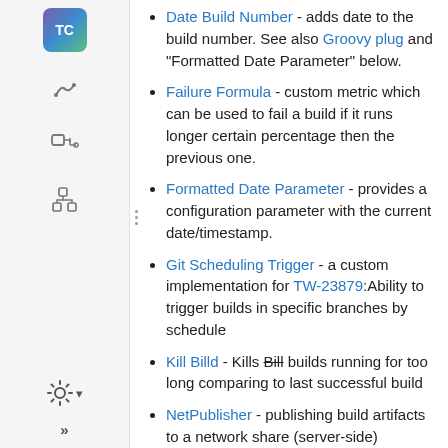Date Build Number - adds date to the build number. See also Groovy plug and "Formatted Date Parameter" below.
Failure Formula - custom metric which can be used to fail a build if it runs longer certain percentage then the previous one.
Formatted Date Parameter - provides a configuration parameter with the current date/timestamp.
Git Scheduling Trigger - a custom implementation for TW-23879:Ability to trigger builds in specific branches by schedule
Kill Billd - Kills Bill builds running for too long comparing to last successful build
NetPublisher - publishing build artifacts to a network share (server-side)
RunAs [JB] - Adds ability to run builds in sandboxes, under different user accounts (requires TeamCity 6.5.3)
Shared Build Number - provides build number sharing between the build configurations and more.